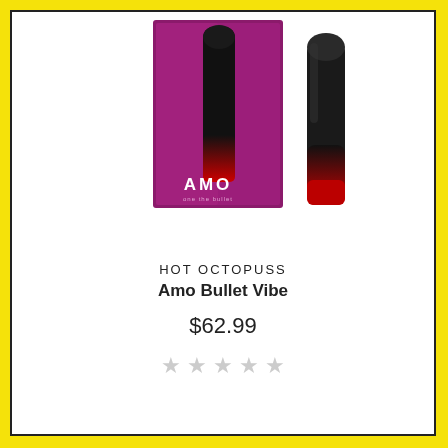[Figure (photo): Product photo showing AMO Bullet Vibe by Hot Octopuss: a purple product box with 'AMO' branding and a black-to-red gradient bullet vibrator device next to it, on a white background.]
HOT OCTOPUSS
Amo Bullet Vibe
$62.99
★ ★ ★ ★ ★ (empty stars)